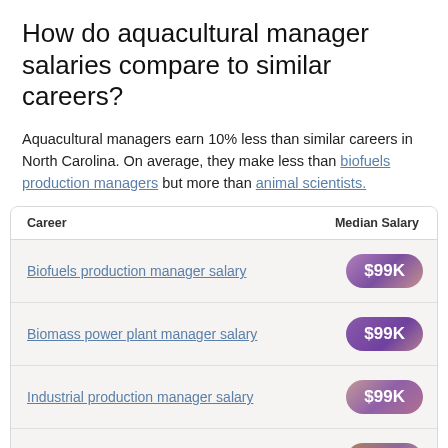How do aquacultural manager salaries compare to similar careers?
Aquacultural managers earn 10% less than similar careers in North Carolina. On average, they make less than biofuels production managers but more than animal scientists.
| Career | Median Salary |
| --- | --- |
| Biofuels production manager salary | $99K |
| Biomass power plant manager salary | $99K |
| Industrial production manager salary | $99K |
| ... | $99K |